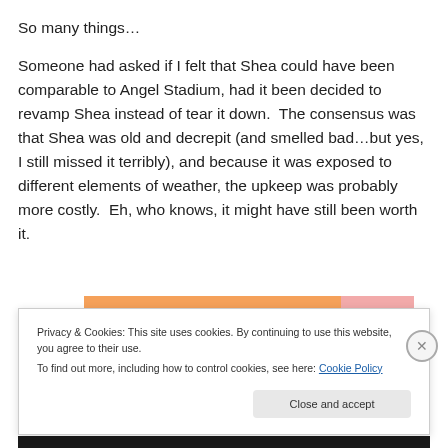So many things…
Someone had asked if I felt that Shea could have been comparable to Angel Stadium, had it been decided to revamp Shea instead of tear it down.  The consensus was that Shea was old and decrepit (and smelled bad…but yes, I still missed it terribly), and because it was exposed to different elements of weather, the upkeep was probably more costly.  Eh, who knows, it might have still been worth it.
Privacy & Cookies: This site uses cookies. By continuing to use this website, you agree to their use.
To find out more, including how to control cookies, see here: Cookie Policy